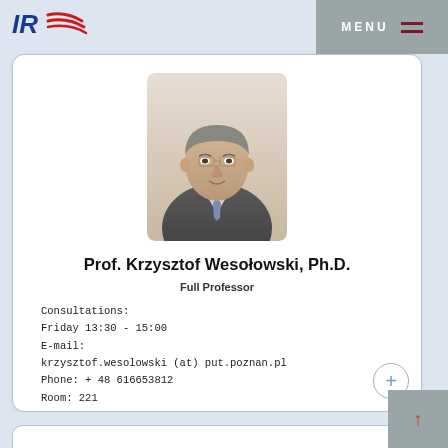[Figure (logo): IR logo with red swoosh lines in blue italic text]
MENU
[Figure (photo): Portrait photo of Prof. Krzysztof Wesołowski, a middle-aged man in a suit and tie with grey hair]
Prof. Krzysztof Wesołowski, Ph.D.
Full Professor
Consultations:
Friday 13:30 - 15:00
E-mail:
krzysztof.wesolowski (at) put.poznan.pl
Phone: + 48 616653812
Room: 221